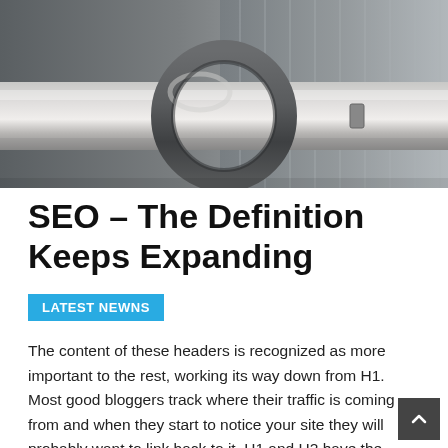[Figure (photo): Close-up photo of a metal pipe or rod with a metal ring/clamp around it, industrial grey tones]
SEO – The Definition Keeps Expanding
LATEST NEWNS
The content of these headers is recognized as more important to the rest, working its way down from H1. Most good bloggers track where their traffic is coming from and when they start to notice your site they will probably want to link back to it. H1 and H2 have the most SEO value and here's why: The H1 tag should be relevant to your content and complete with your page...